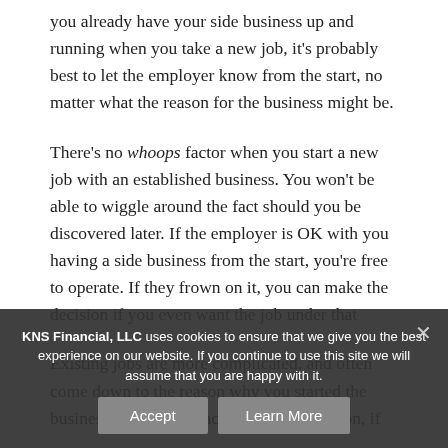you already have your side business up and running when you take a new job, it's probably best to let the employer know from the start, no matter what the reason for the business might be.
There's no whoops factor when you start a new job with an established business. You won't be able to wiggle around the fact should you be discovered later. If the employer is OK with you having a side business from the start, you're free to operate. If they frown on it, you can make the decision if you even want the job under that
Existing jobs are more complicated, and often come down to the reason why you started the business in the first place (so the last section, if
KNS Financial, LLC uses cookies to ensure that we give you the best experience on our website. If you continue to use this site we will assume that you are happy with it.